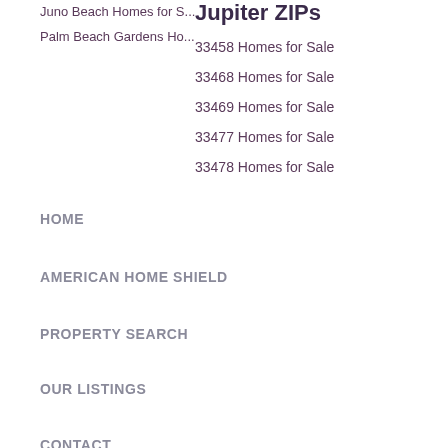Juno Beach Homes for S...
Palm Beach Gardens Ho...
Jupiter ZIPs
33458 Homes for Sale
33468 Homes for Sale
33469 Homes for Sale
33477 Homes for Sale
33478 Homes for Sale
HOME
AMERICAN HOME SHIELD
PROPERTY SEARCH
OUR LISTINGS
CONTACT
ONLINE ESCROW DEPOSIT